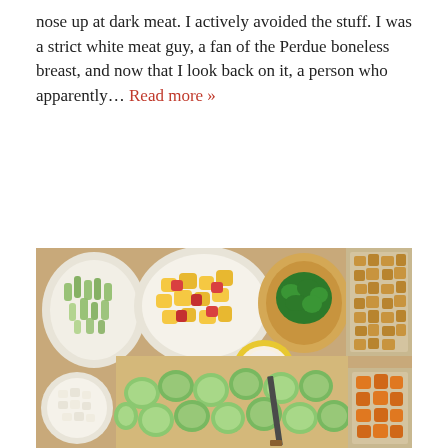nose up at dark meat. I actively avoided the stuff. I was a strict white meat guy, a fan of the Perdue boneless breast, and now that I look back on it, a person who apparently… Read more »
[Figure (photo): Overhead photo of various prepared ingredients on a wooden cutting board: chopped green onions in a bowl, diced yellow and red peppers on a plate, chopped green herbs in a bowl, a small bowl of white liquid, bread croutons in a foil tray, chopped onions, halved Brussels sprouts on a cutting board with a knife, and diced orange squash in a foil tray.]